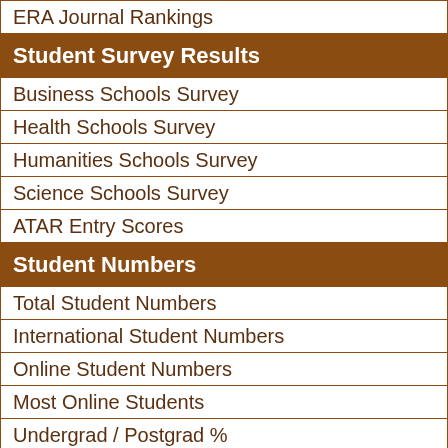ERA Journal Rankings
Student Survey Results
Business Schools Survey
Health Schools Survey
Humanities Schools Survey
Science Schools Survey
ATAR Entry Scores
Student Numbers
Total Student Numbers
International Student Numbers
Online Student Numbers
Most Online Students
Undergrad / Postgrad %
Gender Balance Ratio
Degree Completion Rates
Salaries & Fees
Graduate Starting Salaries
Discipline Starting Salaries